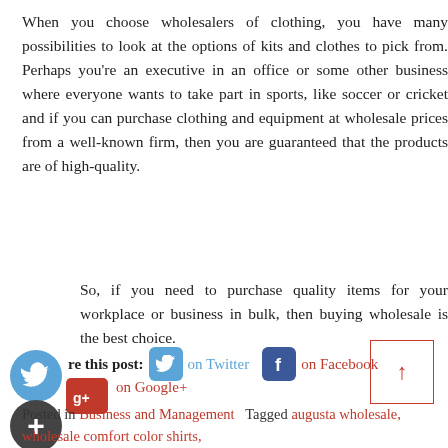When you choose wholesalers of clothing, you have many possibilities to look at the options of kits and clothes to pick from. Perhaps you're an executive in an office or some other business where everyone wants to take part in sports, like soccer or cricket and if you can purchase clothing and equipment at wholesale prices from a well-known firm, then you are guaranteed that the products are of high-quality.
So, if you need to purchase quality items for your workplace or business in bulk, then buying wholesale is the best choice.
[Figure (infographic): Social media share buttons: Facebook circle icon, Google+ circle icon, Twitter circle icon, Google+ square button, plus icon. Share this post: Twitter button, on Twitter link, Facebook button, on Facebook link, Google+ button, on Google+ link. Up arrow navigation box.]
Posted in Business and Management   Tagged augusta wholesale, wholesale comfort color shirts,